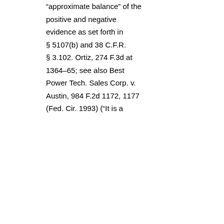“approximate balance” of the positive and negative evidence as set forth in § 5107(b) and 38 C.F.R. § 3.102. Ortiz, 274 F.3d at 1364–65; see also Best Power Tech. Sales Corp. v. Austin, 984 F.2d 1172, 1177 (Fed. Cir. 1993) (“It is a